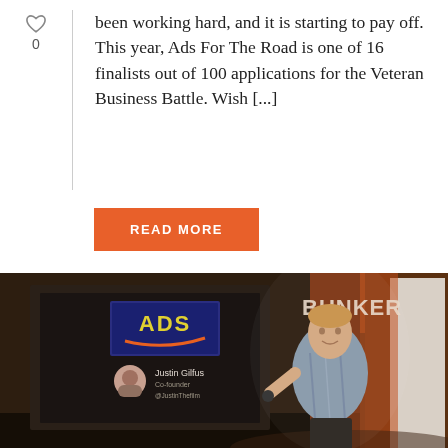been working hard, and it is starting to pay off. This year, Ads For The Road is one of 16 finalists out of 100 applications for the Veteran Business Battle. Wish [...]
READ MORE
[Figure (photo): A man presenting on stage in front of a projection screen displaying the ADS logo and 'Justin Gilfus, Co-founder' with a circular headshot. A banner in the background reads 'BUNKER'.]
By Justin Gilfus In General Posted February 21, 2017